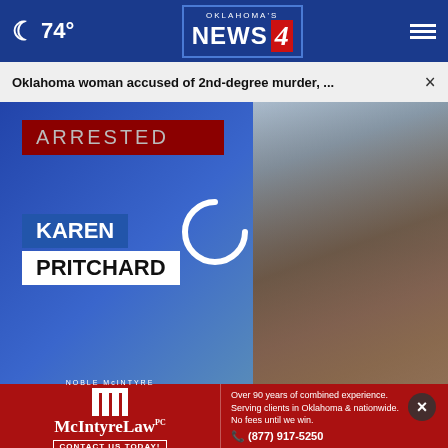74° Oklahoma's News 4
Oklahoma woman accused of 2nd-degree murder, ...
[Figure (screenshot): News broadcast screenshot showing 'ARRESTED' banner in dark red, name chyron 'KAREN PRITCHARD' in blue/white boxes, loading spinner arc, and a woman's photo on the right side. Oklahoma's News 4 logo visible in lower right corner.]
CORPUS CHRISTI CATHOLIC CHURCH: ONLINE SERVICE ONLY SUNDAY
FOR THE LATEST INFORMATION, BE SURE TO FOLLOW US ON FACEBOOK & TWITTER
[Figure (photo): Partial outdoor scene visible below video player]
NOBLE McINTYRE McIntyreLaw PC CONTACT US TODAY! Over 90 years of combined experience. Serving clients in Oklahoma & nationwide. No fees until we win. (877) 917-5250